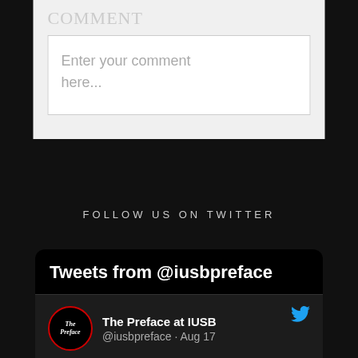Enter your comment here...
FOLLOW US ON TWITTER
[Figure (screenshot): Embedded Twitter widget showing tweets from @iusbpreface. Header reads 'Tweets from @iusbpreface'. A tweet from 'The Preface at IUSB' (@iusbpreface · Aug 17) reads: 'IU South Bend to remove student parking pass cost']